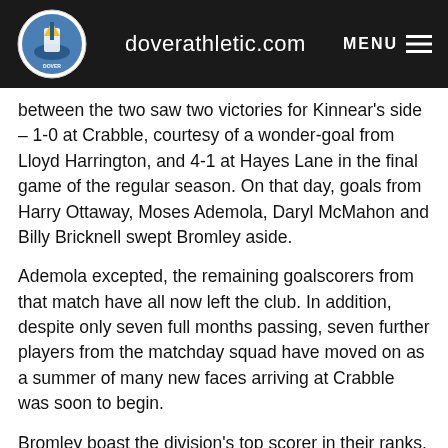doverathletic.com
between the two saw two victories for Kinnear's side – 1-0 at Crabble, courtesy of a wonder-goal from Lloyd Harrington, and 4-1 at Hayes Lane in the final game of the regular season. On that day, goals from Harry Ottaway, Moses Ademola, Daryl McMahon and Billy Bricknell swept Bromley aside.
Ademola excepted, the remaining goalscorers from that match have all now left the club. In addition, despite only seven full months passing, seven further players from the matchday squad have moved on as a summer of many new faces arriving at Crabble was soon to begin.
Bromley boast the division's top scorer in their ranks. Bradley Goldberg, son of boss Mark, is on-loan from League Two side Dagenham & Redbridge and has found the net ten times in the current campaign. Strike partner Pierre Joseph-Dubois, voted the club's Player of the Year last season, has seven goals to his